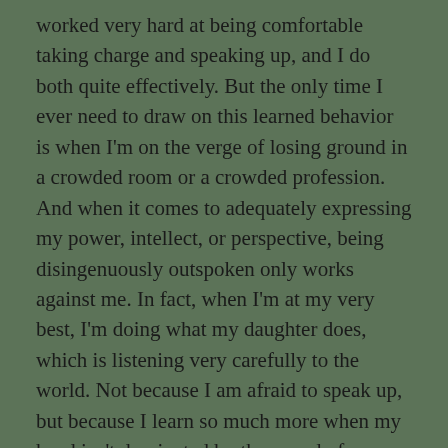worked very hard at being comfortable taking charge and speaking up, and I do both quite effectively. But the only time I ever need to draw on this learned behavior is when I'm on the verge of losing ground in a crowded room or a crowded profession. And when it comes to adequately expressing my power, intellect, or perspective, being disingenuously outspoken only works against me. In fact, when I'm at my very best, I'm doing what my daughter does, which is listening very carefully to the world. Not because I am afraid to speak up, but because I learn so much more when my head isn't dominated by the sound of my own voice. This, incidentally, is also the place where my best and most genuine writing emerges.
And at this moment of heightened sensitivity around the insidious effects of loud, privileged, narrow-minded voices